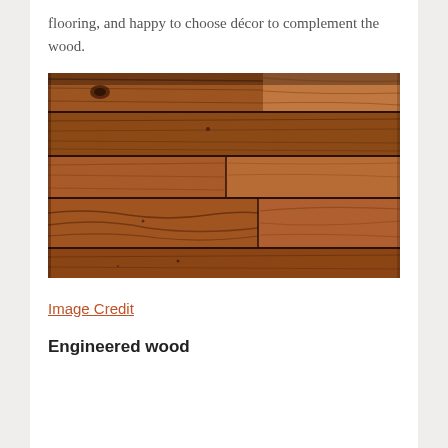flooring, and happy to choose décor to complement the wood.
[Figure (photo): Close-up photograph of hardwood flooring planks showing wood grain texture, knots, and varied brown tones with horizontal plank arrangement.]
Image Credit
Engineered wood